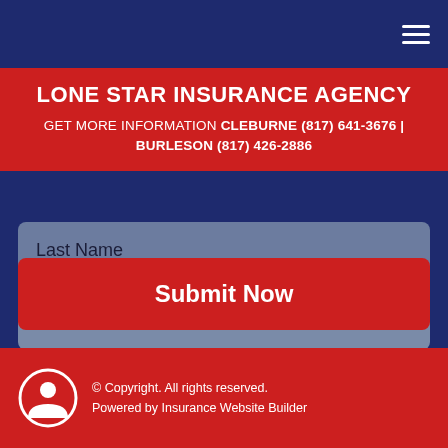LONE STAR INSURANCE AGENCY
GET MORE INFORMATION CLEBURNE (817) 641-3676 | BURLESON (817) 426-2886
Last Name
Email Address
Phone Number
Select Insurance Type
Submit Now
© Copyright. All rights reserved. Powered by Insurance Website Builder